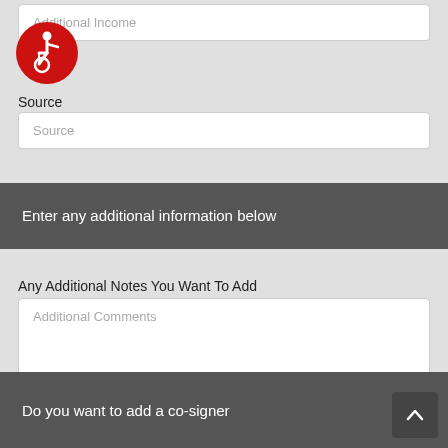Additional Income
[Figure (illustration): Red circular accessibility icon with white wheelchair user symbol]
Source
Source
Enter any additional information below
Any Additional Notes You Want To Add
Additional Comments
Do you want to add a co-signer